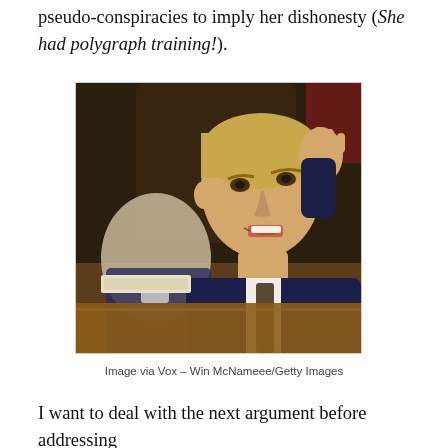pseudo-conspiracies to imply her dishonesty (She had polygraph training!).
[Figure (photo): A man in a dark suit gesturing expressively with one hand raised, speaking or arguing, with another older man seated behind him in a legislative or hearing room setting.]
Image via Vox – Win McNamee/Getty Images
I want to deal with the next argument before addressing